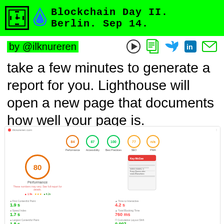Blockchain Day II. Berlin. Sep 14.
by @ilknureren
take a few minutes to generate a report for you. Lighthouse will open a new page that documents how well your page is.
[Figure (screenshot): Lighthouse performance report showing score of 80 for Performance, with metrics: First Contentful Paint 1.9s, Speed Index 1.7s, Largest Contentful Paint 1.8s, Time to Interactive 4.2s, Total Blocking Time 760ms, Cumulative Layout Shift 0.007]
[Figure (screenshot): Lighthouse accessibility report showing score of 97 with audit item: Background and foreground colors do not have a sufficient contrast ratio]